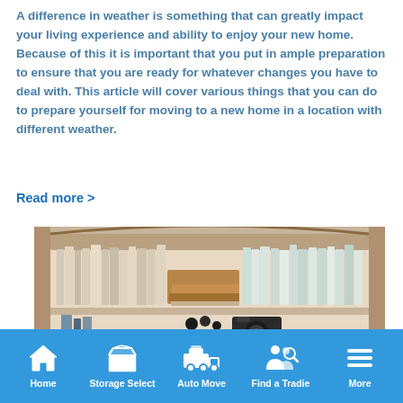A difference in weather is something that can greatly impact your living experience and ability to enjoy your new home. Because of this it is important that you put in ample preparation to ensure that you are ready for whatever changes you have to deal with. This article will cover various things that you can do to prepare yourself for moving to a new home in a location with different weather.
Read more >
[Figure (photo): Photo of a wooden bookshelf filled with books and a wooden DOMINO box, with a camera visible on the lower shelf.]
Home | Storage Select | Auto Move | Find a Tradie | More